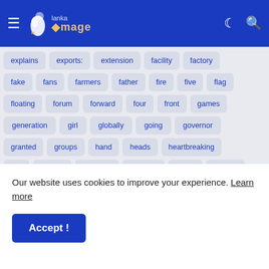Lanka Image — navigation header with hamburger menu, logo, moon icon, search icon
explains
exports:
extension
facility
factory
fake
fans
farmers
father
fire
five
flag
floating
forum
forward
four
front
games
generation
girl
globally
going
governor
granted
groups
hand
heads
heartbreaking
hell
historic
hoarders
honours
horror
huawei
huge
humanitarian
hunt
hunting
imminent
impact
impeachment
import
imran
incident
Our website uses cookies to improve your experience. Learn more
Accept !